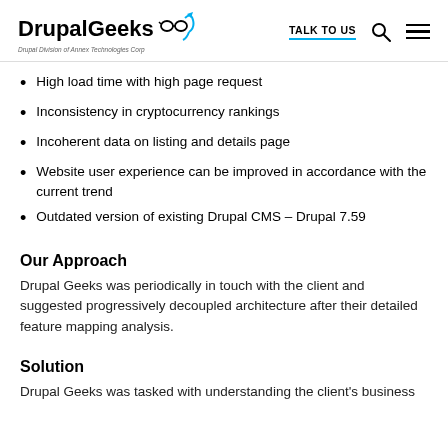DrupalGeeks — Drupal Division of Annex Technologies Corp | TALK TO US
High load time with high page request
Inconsistency in cryptocurrency rankings
Incoherent data on listing and details page
Website user experience can be improved in accordance with the current trend
Outdated version of existing Drupal CMS – Drupal 7.59
Our Approach
Drupal Geeks was periodically in touch with the client and suggested progressively decoupled architecture after their detailed feature mapping analysis.
Solution
Drupal Geeks was tasked with understanding the client's business